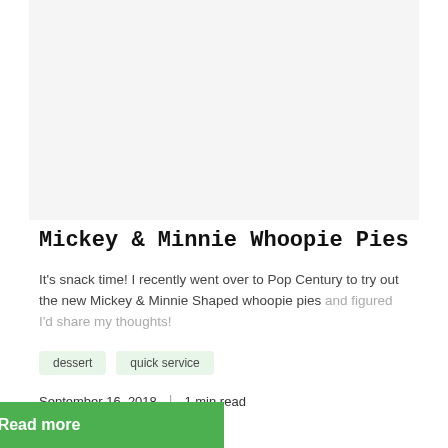[Figure (photo): Placeholder image area for Mickey & Minnie Whoopie Pies photo]
Mickey & Minnie Whoopie Pies
It's snack time! I recently went over to Pop Century to try out the new Mickey & Minnie Shaped whoopie pies and figured I'd share my thoughts!
dessert
quick service
September 16, 2018  |  1 min read
Read more